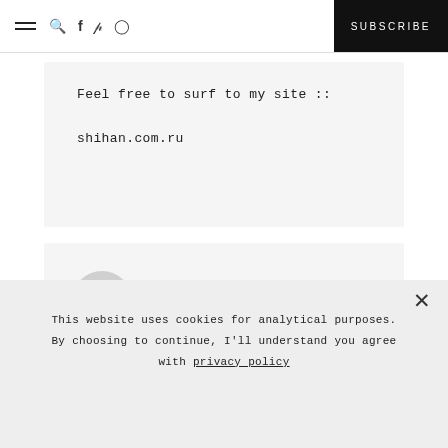≡  🔍  f  ℗  ⊡   SUBSCRIBE
Feel free to surf to my site ::
shihan.com.ru
SDFSDF
This website uses cookies for analytical purposes. By choosing to continue, I'll understand you agree with privacy policy